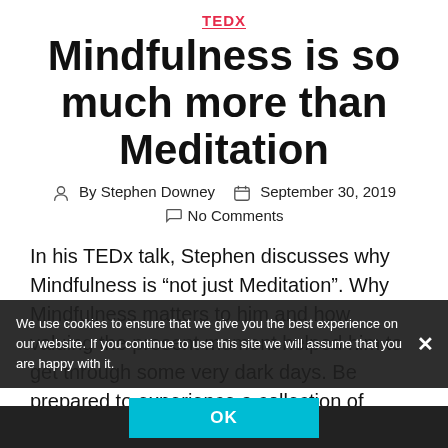TEDX
Mindfulness is so much more than Meditation
By Stephen Downey   September 30, 2019   No Comments
In his TEDx talk, Stephen discusses why Mindfulness is “not just Meditation”. Why Mindfulness matters to him and how valuing the present moment helped him to get through some very dark days. Be prepared to experience a collection of moments that show him how his journey of the Moment has transformed his life.
We use cookies to ensure that we give you the best experience on our website. If you continue to use this site we will assume that you are happy with it.
OK